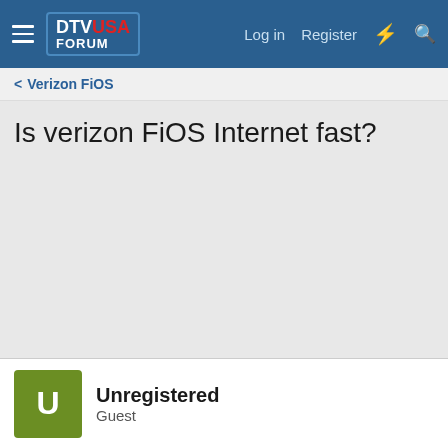DTV USA FORUM — Log in  Register
< Verizon FiOS
Is verizon FiOS Internet fast?
Unregistered
Guest